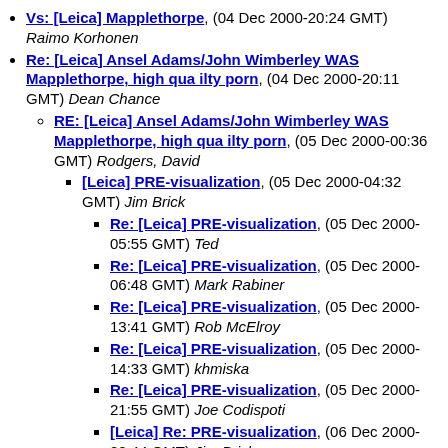Vs: [Leica] Mapplethorpe, (04 Dec 2000-20:24 GMT) Raimo Korhonen
Re: [Leica] Ansel Adams/John Wimberley WAS Mapplethorpe, high qua ilty porn, (04 Dec 2000-20:11 GMT) Dean Chance
RE: [Leica] Ansel Adams/John Wimberley WAS Mapplethorpe, high qua ilty porn, (05 Dec 2000-00:36 GMT) Rodgers, David
[Leica] PRE-visualization, (05 Dec 2000-04:32 GMT) Jim Brick
Re: [Leica] PRE-visualization, (05 Dec 2000-05:55 GMT) Ted
Re: [Leica] PRE-visualization, (05 Dec 2000-06:48 GMT) Mark Rabiner
Re: [Leica] PRE-visualization, (05 Dec 2000-13:41 GMT) Rob McElroy
Re: [Leica] PRE-visualization, (05 Dec 2000-14:33 GMT) khmiska
Re: [Leica] PRE-visualization, (05 Dec 2000-21:55 GMT) Joe Codispoti
[Leica] Re: PRE-visualization, (06 Dec 2000-00:44 GMT) Jim Brick
Re: [Leica] PRE-visualization, (05 Dec 2000-06:17 GMT) Guy Bennett
Re: [Leica] PRE-visualization, (05 Dec